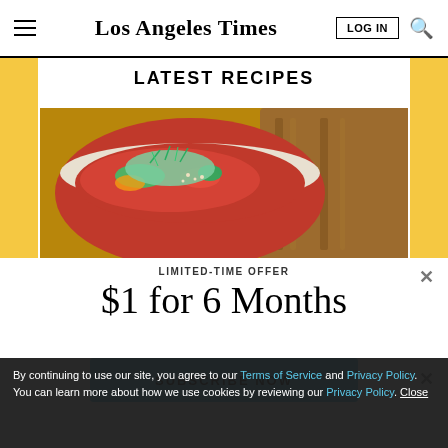Los Angeles Times
LATEST RECIPES
[Figure (photo): A bowl of red tomato-based dish with vegetables and microgreens, with a wooden spoon/board in the background]
LIMITED-TIME OFFER
$1 for 6 Months
SUBSCRIBE NOW
By continuing to use our site, you agree to our Terms of Service and Privacy Policy. You can learn more about how we use cookies by reviewing our Privacy Policy. Close